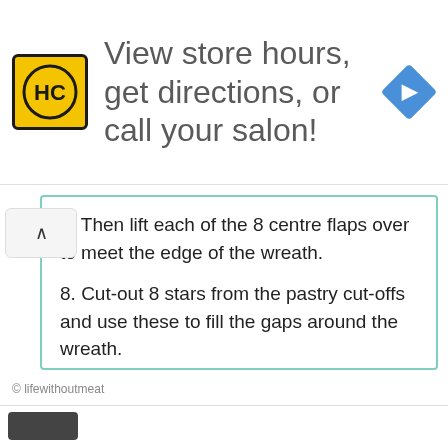[Figure (logo): HC logo (yellow square with HC letters) and navigation arrow diamond icon forming an advertisement banner reading 'View store hours, get directions, or call your salon!']
7. Then lift each of the 8 centre flaps over to meet the edge of the wreath.
8. Cut-out 8 stars from the pastry cut-offs and use these to fill the gaps around the wreath.
9. Sprinkle over fresh thyme, salt, and brush the pastry with a little oil to encourage a nice crisp. Place the wreath in the oven for 25mins until golden.
© lifewithoutmeat